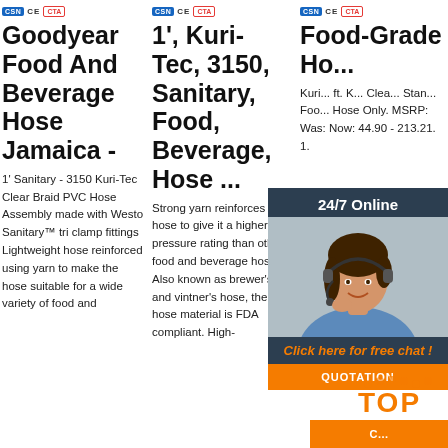CSN CE CTA | CSN CE CTA | CSN CE CTA
Goodyear Food And Beverage Hose Jamaica -
1', Kuri-Tec, 3150, Sanitary, Food, Beverage, Hose ...
Food-Grade Ho... Me... Ca...
1' Sanitary - 3150 Kuri-Tec Clear Braid PVC Hose Assembly made with Westo Sanitary™ tri clamp fittings Lightweight hose reinforced using yarn to make the hose suitable for a wide variety of food and
Strong yarn reinforces this hose to give it a higher pressure rating than other food and beverage hose. Also known as brewer's and vintner's hose, the hose material is FDA compliant. High-
Kuri... ft. K... Clea... Stan... Foo... Hose Only. MSRP: Was: Now: 44.90 - 213.21. 1.
[Figure (photo): 24/7 Online chat widget with woman wearing headset, orange QUOTATION button, and Click here for free chat text]
[Figure (logo): TOP logo with orange dots at bottom right]